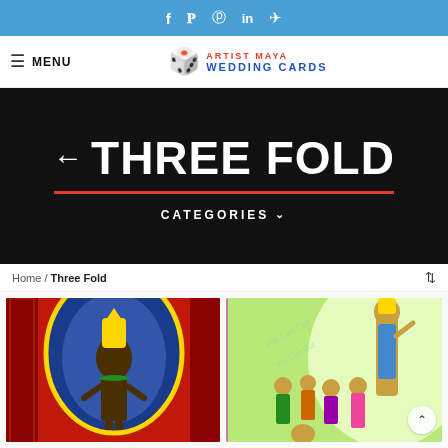f  ᵀ  ⓟ  in  ✈
MENU | ARTIST MAYA WEDDING CARDS
THREE FOLD
CATEGORIES ∨
Home / Three Fold
[Figure (photo): Hindu deity (Tirupati Balaji / Venkateswara) illustration in colorful traditional style with gold arch, red and decorative background]
[Figure (photo): Hindu mythological illustration showing Arjuna and other figures in green and light background, wedding card style]